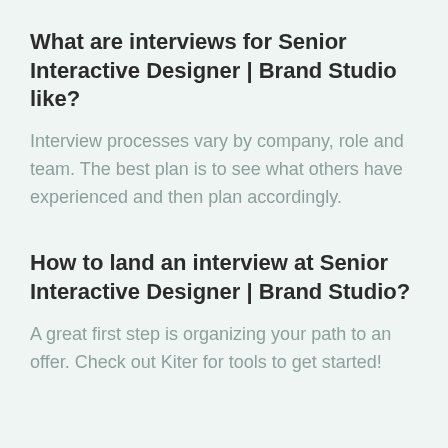What are interviews for Senior Interactive Designer | Brand Studio like?
Interview processes vary by company, role and team. The best plan is to see what others have experienced and then plan accordingly.
How to land an interview at Senior Interactive Designer | Brand Studio?
A great first step is organizing your path to an offer. Check out Kiter for tools to get started!